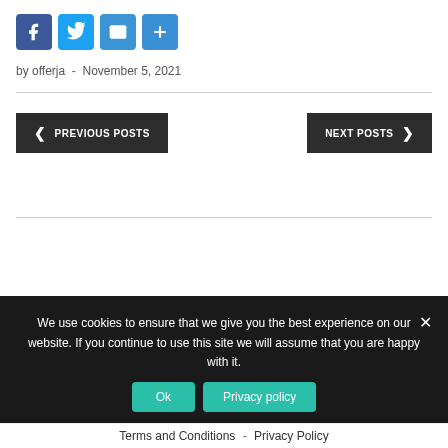[Figure (illustration): Social share buttons row: Facebook (blue), Twitter (blue), Mail (blue), Plus/Share (blue)]
by offerja  -  November 5, 2021
PREVIOUS POSTS  |  NEXT POSTS navigation buttons
We use cookies to ensure that we give you the best experience on our website. If you continue to use this site we will assume that you are happy with it.
Ok  |  Privacy policy
Terms and Conditions - Privacy Policy